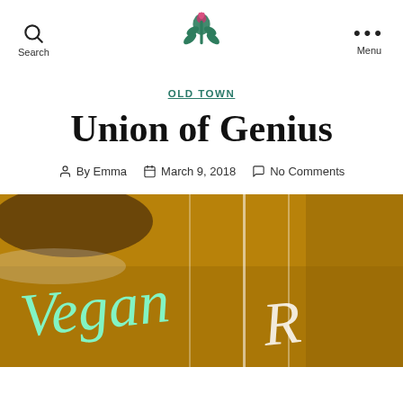Search | [Logo] | Menu
OLD TOWN
Union of Genius
By Emma   March 9, 2018   No Comments
[Figure (photo): Close-up photo with golden/amber background showing 'Vegan R...' text in cursive on what appears to be a glass or acrylic sign, with mint/turquoise and white lettering.]